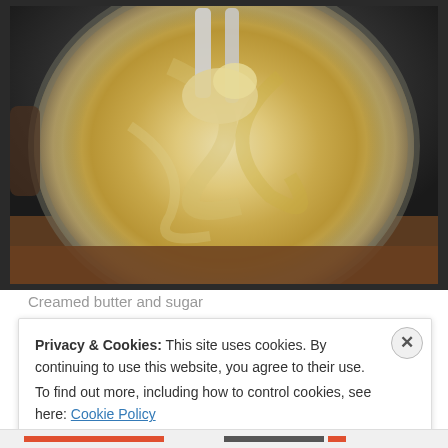[Figure (photo): Overhead view of a stainless steel mixing bowl containing creamed butter and sugar being mixed, with a white mixer attachment visible. The mixture appears pale yellow and fluffy.]
Creamed butter and sugar
Privacy & Cookies: This site uses cookies. By continuing to use this website, you agree to their use.
To find out more, including how to control cookies, see here: Cookie Policy